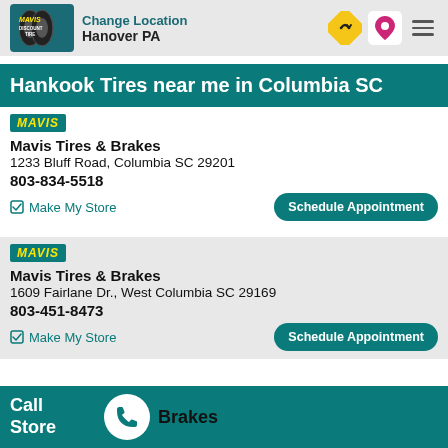Change Location Hanover PA
Hankook Tires near me in Columbia SC
Mavis Tires & Brakes
1233 Bluff Road, Columbia SC 29201
803-834-5518
Make My Store | Schedule Appointment
Mavis Tires & Brakes
1609 Fairlane Dr., West Columbia SC 29169
803-451-8473
Make My Store | Schedule Appointment
Call Store | Brakes